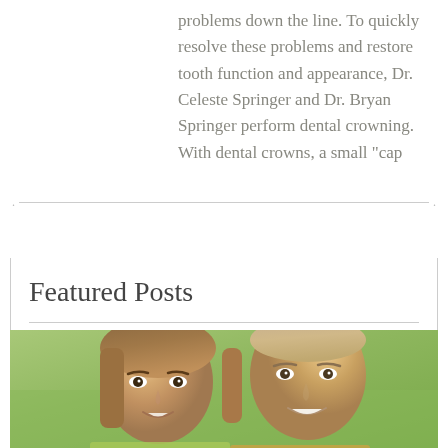problems down the line. To quickly resolve these problems and restore tooth function and appearance, Dr. Celeste Springer and Dr. Bryan Springer perform dental crowning. With dental crowns, a small "cap
Featured Posts
[Figure (photo): A smiling young couple — a woman with long brown hair on the left and a man with short hair on the right — photographed closely together outdoors.]